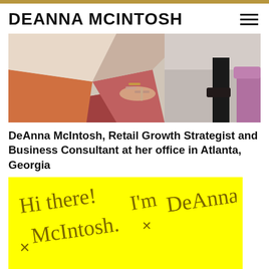DEANNA MCINTOSH
[Figure (photo): Close-up photo of feet wearing tan/beige strap heels on a colorful orange, pink and mauve geometric patterned rug, with a dark chair and purple upholstered furniture in the background.]
DeAnna McIntosh, Retail Growth Strategist and Business Consultant at her office in Atlanta, Georgia
[Figure (illustration): Yellow highlighted background with cursive handwritten signature reading 'Hi there! I'm DeAnna McIntosh.']
I help Retailers increase and